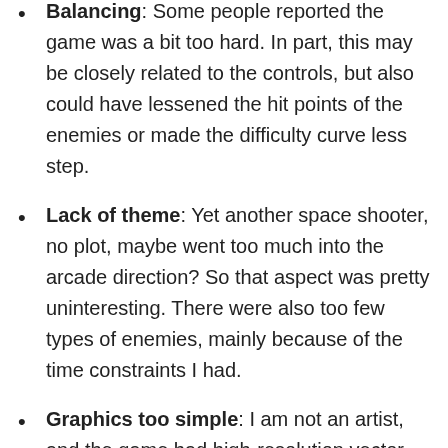Balancing: Some people reported the game was a bit too hard. In part, this may be closely related to the controls, but also could have lessened the hit points of the enemies or made the difficulty curve less step.
Lack of theme: Yet another space shooter, no plot, maybe went too much into the arcade direction? So that aspect was pretty uninteresting. There were also too few types of enemies, mainly because of the time constraints I had.
Graphics too simple: I am not an artist, and the game had high-resolution vector art.